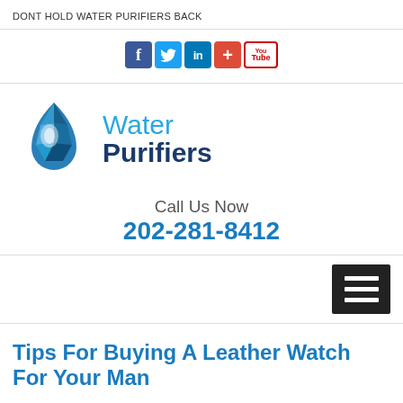DONT HOLD WATER PURIFIERS BACK
[Figure (logo): Social media icons: Facebook, Twitter, LinkedIn, Google+, YouTube]
[Figure (logo): Water Purifiers logo with water drop icon, text 'Water Purifiers']
Call Us Now 202-281-8412
[Figure (infographic): Hamburger menu icon (three horizontal lines on dark background)]
Tips For Buying A Leather Watch For Your Man